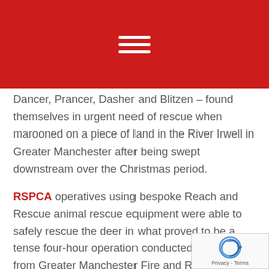Dancer, Prancer, Dasher and Blitzen – found themselves in urgent need of rescue when marooned on a piece of land in the River Irwell in Greater Manchester after being swept downstream over the Christmas period.
RSPCA operatives using bespoke Reach and Rescue animal rescue equipment were able to safely rescue the deer in what proved to be a tense four-hour operation conducted with officers from Greater Manchester Fire and Rescue Service.
After Dasher swam upstream and Prancer managed to escape back home over a high fence, RSPCA animal welfare officer Steve Wickham reports that the rescue team deployed boats in an effort to coax the remaining deer into swimming towards the relatively safer water upstream.